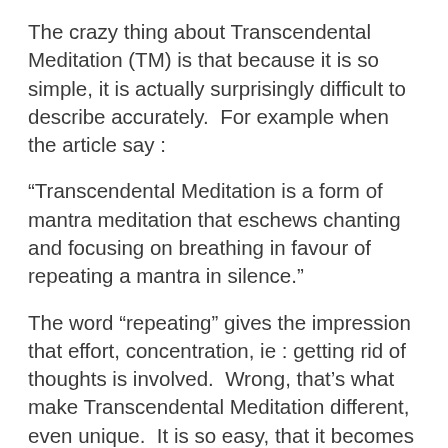The crazy thing about Transcendental Meditation (TM) is that because it is so simple, it is actually surprisingly difficult to describe accurately.  For example when the article say :
“Transcendental Meditation is a form of mantra meditation that eschews chanting and focusing on breathing in favour of repeating a mantra in silence.”
The word “repeating” gives the impression that effort, concentration, ie : getting rid of thoughts is involved.  Wrong, that’s what make Transcendental Meditation different, even unique.  It is so easy, that it becomes effortless to practice.  Hence another favourite quote of mine from someone whom I taught on a TM course in York a few years ago :
“I really enjoyed the course, after years of struggling with thought control meditation techniques, TM feels like a breath of fresh air – it almost feels like cheating! I’m managing to